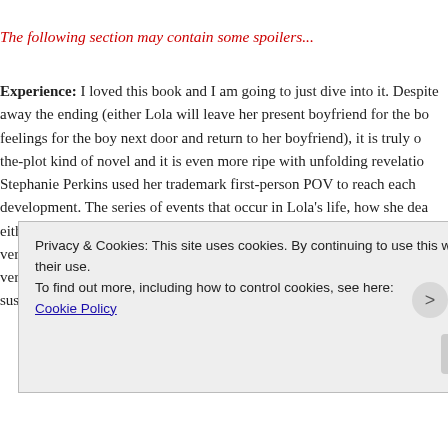The following section may contain some spoilers...
Experience: I loved this book and I am going to just dive into it. Despite away the ending (either Lola will leave her present boyfriend for the bo feelings for the boy next door and return to her boyfriend), it is truly o the-plot kind of novel and it is even more ripe with unfolding revelatio Stephanie Perkins used her trademark first-person POV to reach each development. The series of events that occur in Lola's life, how she dea either in reflection of her future aspirations as well as her past experie not very difficult to guess which ending the book will reach after readin very, very important to see how Lola would reach that conclusion all th suspense alive and the plot churning. And it was very interesting how I
Privacy & Cookies: This site uses cookies. By continuing to use this website, you agree to their use.
To find out more, including how to control cookies, see here:
Cookie Policy
Close and accept